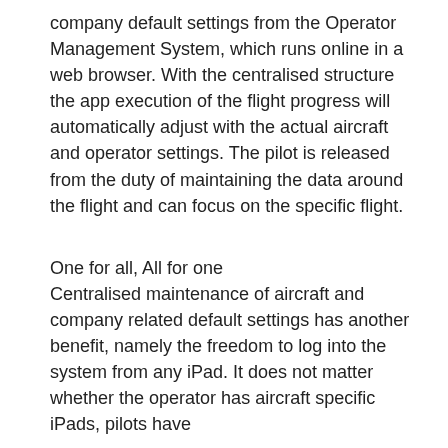company default settings from the Operator Management System, which runs online in a web browser. With the centralised structure the app execution of the flight progress will automatically adjust with the actual aircraft and operator settings. The pilot is released from the duty of maintaining the data around the flight and can focus on the specific flight.
One for all, All for one
Centralised maintenance of aircraft and company related default settings has another benefit, namely the freedom to log into the system from any iPad. It does not matter whether the operator has aircraft specific iPads, pilots have